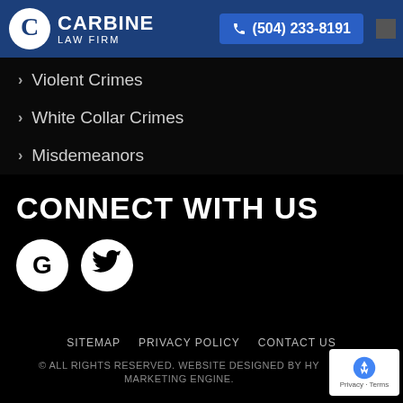Carbine Law Firm | (504) 233-8191
Violent Crimes
White Collar Crimes
Misdemeanors
CONNECT WITH US
[Figure (logo): Google G logo icon in white circle]
[Figure (logo): Twitter bird icon in white circle]
SITEMAP   PRIVACY POLICY   CONTACT US
© ALL RIGHTS RESERVED. WEBSITE DESIGNED BY HY MARKETING ENGINE.